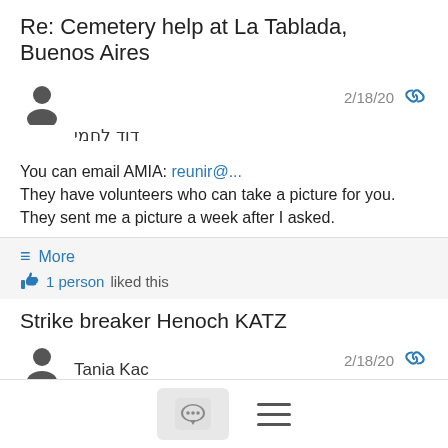Re: Cemetery help at La Tablada, Buenos Aires
דוד לחמי   2/18/20
You can email AMIA: reunir@...
They have volunteers who can take a picture for you. They sent me a picture a week after I asked.
≡ More
👍 1 person liked this
Strike breaker Henoch KATZ
Tania Kac   2/18/20
Seeking information on Henoch KAC (KATZ) (prob. born